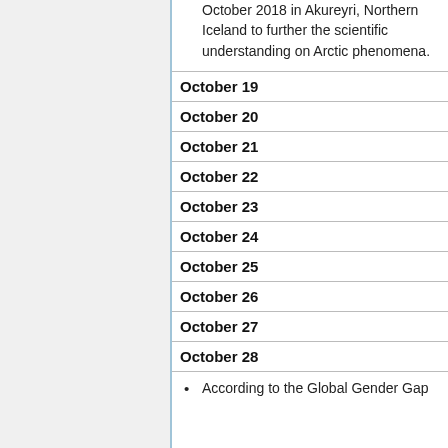October 2018 in Akureyri, Northern Iceland to further the scientific understanding on Arctic phenomena.
October 19
October 20
October 21
October 22
October 23
October 24
October 25
October 26
October 27
October 28
According to the Global Gender Gap